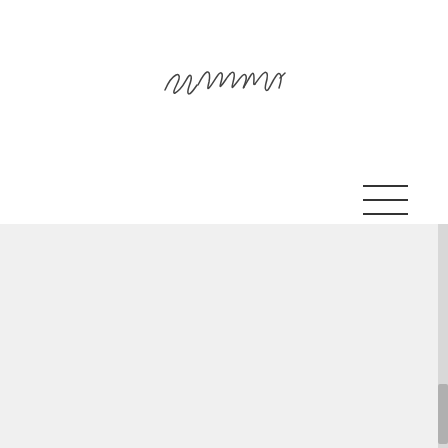[Figure (illustration): A handwritten signature or cursive handwritten text reading approximately 'Bea c.Mar l' or similar cursive script, centered in the upper white portion of the page]
[Figure (other): Hamburger menu icon consisting of three horizontal lines, positioned in the upper right area near the dividing line between white and grey sections]